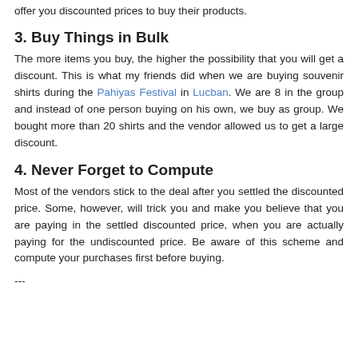offer you discounted prices to buy their products.
3. Buy Things in Bulk
The more items you buy, the higher the possibility that you will get a discount. This is what my friends did when we are buying souvenir shirts during the Pahiyas Festival in Lucban. We are 8 in the group and instead of one person buying on his own, we buy as group. We bought more than 20 shirts and the vendor allowed us to get a large discount.
4. Never Forget to Compute
Most of the vendors stick to the deal after you settled the discounted price. Some, however, will trick you and make you believe that you are paying in the settled discounted price, when you are actually paying for the undiscounted price. Be aware of this scheme and compute your purchases first before buying.
---